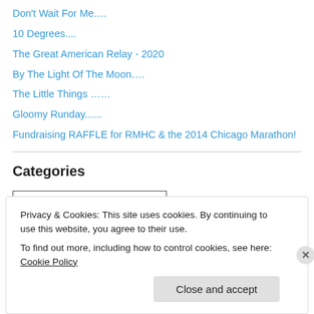Don't Wait For Me….
10 Degrees....
The Great American Relay - 2020
By The Light Of The Moon….
The Little Things ……
Gloomy Runday......
Fundraising RAFFLE for RMHC & the 2014 Chicago Marathon!
Categories
Select Category
Privacy & Cookies: This site uses cookies. By continuing to use this website, you agree to their use.
To find out more, including how to control cookies, see here: Cookie Policy
Close and accept